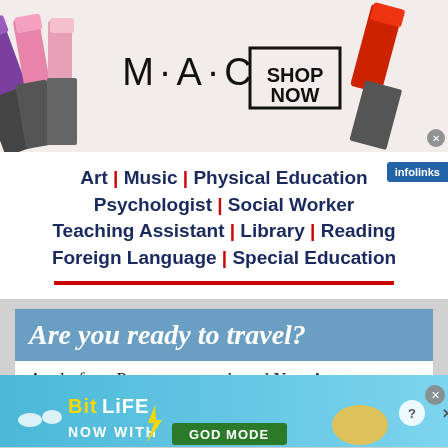[Figure (illustration): MAC cosmetics advertisement banner with lipsticks on left and right, MAC logo in center, SHOP NOW box, on light background]
[Figure (infographic): Education job categories listing: Art, Music, Physical Education, Psychologist, Social Worker, Teaching Assistant, Library, Reading, Foreign Language, Special Education with red separator line. Infolinks badge top right.]
[Figure (infographic): Passport/travel advertisement: 'Are you ready to travel?' on blue header, 'Apply for a Passport at our brand New Acceptance Facility Located in the Yonkers City Clerk's Office, 40 South Broadway, City Hall Room 102, Yonkers, NY 10701'. Infolinks badge.]
[Figure (illustration): BitLife app advertisement with blue background, logo in yellow/white, 'NOW WITH GOD MODE' text, pointing hand graphics and close/help buttons.]